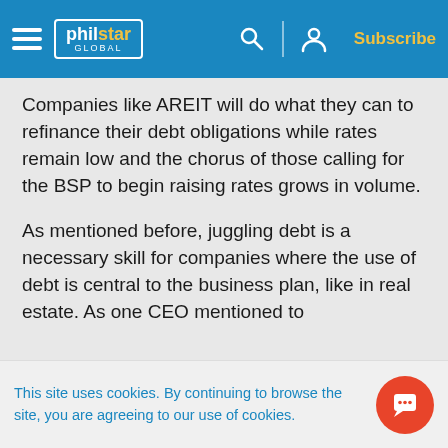philstar GLOBAL — Subscribe
Companies like AREIT will do what they can to refinance their debt obligations while rates remain low and the chorus of those calling for the BSP to begin raising rates grows in volume.
As mentioned before, juggling debt is a necessary skill for companies where the use of debt is central to the business plan, like in real estate. As one CEO mentioned to
This site uses cookies. By continuing to browse the site, you are agreeing to our use of cookies.